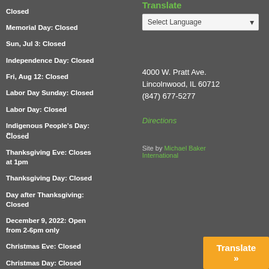Closed
Memorial Day: Closed
Sun, Jul 3: Closed
Independence Day: Closed
Fri, Aug 12: Closed
Labor Day Sunday: Closed
Labor Day: Closed
Indigenous People's Day: Closed
Thanksgiving Eve: Closes at 1pm
Thanksgiving Day: Closed
Day after Thanksgiving: Closed
December 9, 2022: Open from 2-6pm only
Christmas Eve: Closed
Christmas Day: Closed
December 26: Closed
New Year's Eve: Closed
New Year's Day: Closed
Sun, Jan 2, 2022: Closed
Translate
4000 W. Pratt Ave.
Lincolnwood, IL 60712
(847) 677-5277
Directions
Site by Michael Baker International